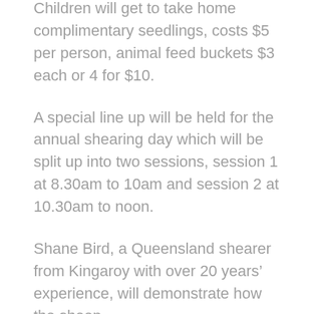Children will get to take home complimentary seedlings, costs $5 per person, animal feed buckets $3 each or 4 for $10.
A special line up will be held for the annual shearing day which will be split up into two sessions, session 1 at 8.30am to 10am and session 2 at 10.30am to noon.
Shane Bird, a Queensland shearer from Kingaroy with over 20 years' experience, will demonstrate how the sheep could be shorn from...